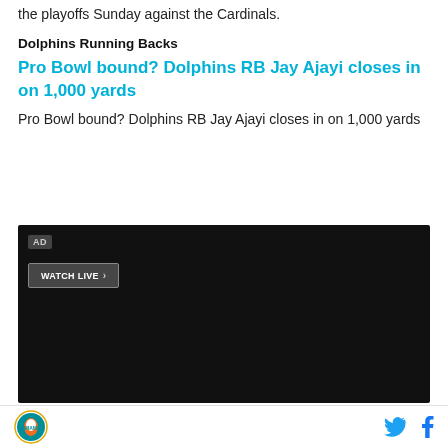the playoffs Sunday against the Cardinals.
Dolphins Running Backs
Pro Bowl bound? Dolphins RB Jay Ajayi closes in on 1,000 yards
Pro Bowl bound? Dolphins RB Jay Ajayi closes in on 1,000 yards
[Figure (other): Black video player advertisement block with AD label and WATCH LIVE button]
Miami Dolphins logo, Twitter icon, Facebook icon